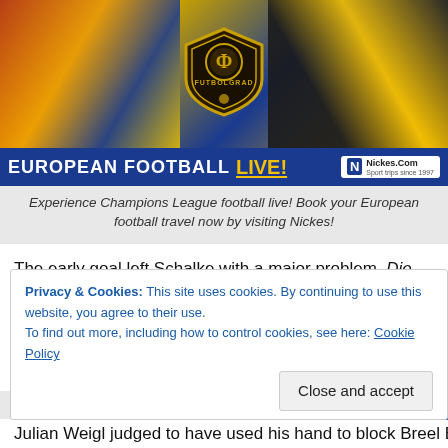[Figure (illustration): Futbolgrad European Football LIVE! banner ad with football fan imagery, BVB and FC Barcelona flags, Futbolgrad shield logo, and Nickes.Com branding]
Experience Champions League football live! Book your European football travel now by visiting Nickes!
The early goal left Schalke with a major problem, Die Königsblauen hadn't managed to overturn a deficit to win a match for any of their Bundesliga games this season – surely to do it at the Westfalenstadion would be too much of an ask for the 15th placed side?
Privacy & Cookies: This site uses cookies. By continuing to use this website, you agree to their use.
To find out more, including how to control cookies, see here: Cookie Policy
Close and accept
Julian Weigl judged to have used his hand to block Breel Embolo's